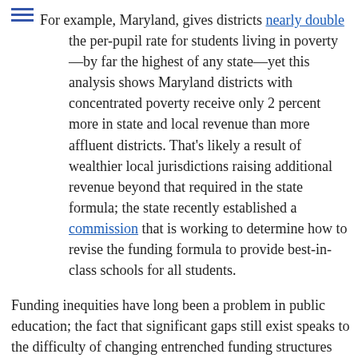For example, Maryland, gives districts nearly double the per-pupil rate for students living in poverty—by far the highest of any state—yet this analysis shows Maryland districts with concentrated poverty receive only 2 percent more in state and local revenue than more affluent districts. That's likely a result of wealthier local jurisdictions raising additional revenue beyond that required in the state formula; the state recently established a commission that is working to determine how to revise the funding formula to provide best-in-class schools for all students.
Funding inequities have long been a problem in public education; the fact that significant gaps still exist speaks to the difficulty of changing entrenched funding structures and addressing the often-politically divisive issue of re-allocating resources to meet student needs. Yet changing this reality is critical to changing the